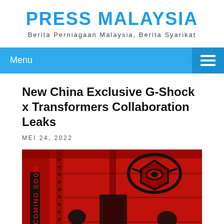PRESS MALAYSIA
Berita Perniagaan Malaysia, Berita Syarikat
New China Exclusive G-Shock x Transformers Collaboration Leaks
MEI 24, 2022
[Figure (photo): Red and black promotional teaser image for G-Shock x Transformers collaboration. Shows silhouettes of Transformers characters against a red background with 'COMING SOON' text and a Decepticon logo visible.]